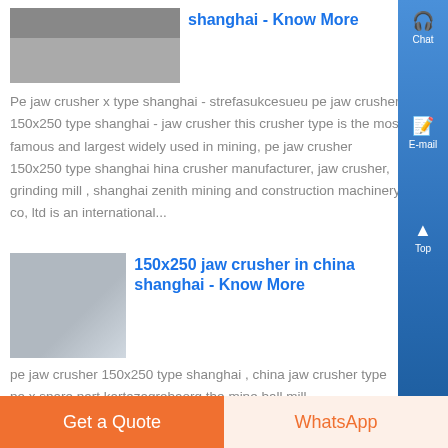[Figure (photo): Photo of people near industrial equipment at top left, partially cropped]
shanghai - Know More
Pe jaw crusher x type shanghai - strefasukcesueu pe jaw crusher 150x250 type shanghai - jaw crusher this crusher type is the most famous and largest widely used in mining, pe jaw crusher 150x250 type shanghai hina crusher manufacturer, jaw crusher, grinding mill , shanghai zenith mining and construction machinery co, ltd is an international...
[Figure (photo): Photo of large white industrial tanks/silos in a factory setting]
150x250 jaw crusher in china shanghai - Know More
pe jaw crusher 150x250 type shanghai , china jaw crusher type pe x spare part kartazagrebaorg the mine ball mill
Get a Quote
WhatsApp